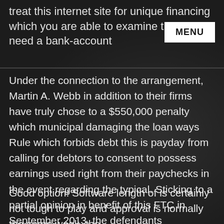treat this internet site for unique financing which you are able to examine that don't need a bank-account
Under the connection to the arrangement, Martin A. Webb in addition to their firms have truly chose to a $550,000 penalty which municipal damaging the loan ways Rule which forbids debt this is payday from calling for debtors to consent to possess earnings used right from their paychecks in the event regarding the typical. Sticking to a partial opinion in benefit of this FTC in September 2013, the defendants surrendered $417,740 in unwell-gotten functions stemming of their past training courses of preparing to trim customers` earnings without courtroom specifications.
Good option! Software length of is certainly not tough to play and approval is normally the same week. the